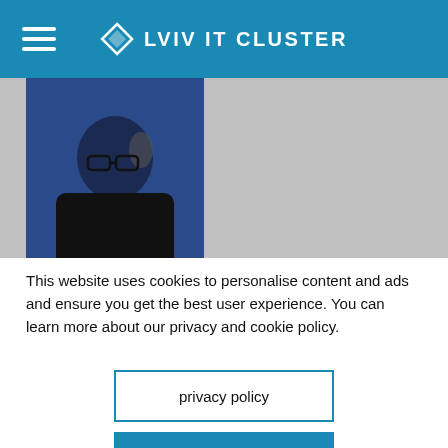LVIV IT CLUSTER
[Figure (photo): Portrait photo of Mike Butcher, a man with glasses and dark jacket against blue background]
Mike Butcher
Editor-at-Large, TechCrunch
This website uses cookies to personalise content and ads and ensure you get the best user experience. You can learn more about our privacy and cookie policy.
privacy policy
accept all